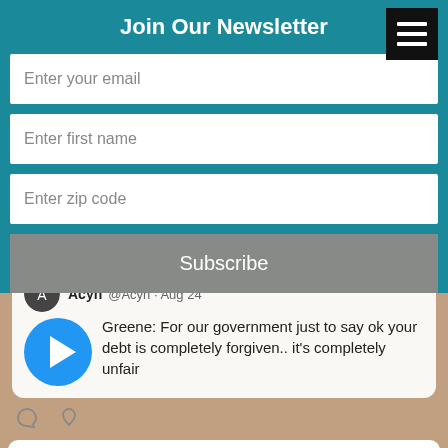Join Our Newsletter
Enter your email
Enter first name
Enter zip code
Subscribe
[Figure (screenshot): Tweet from @Acyn Aug 24 with video thumbnail: Greene: For our government just to say ok your debt is completely forgiven.. it's completely unfair]
[Figure (screenshot): Tweet from TheRainbo... @therain... Aug 26: Shutting a school newspaper; making a trans student write their deadname on a byline ... this is how far they'll go.]